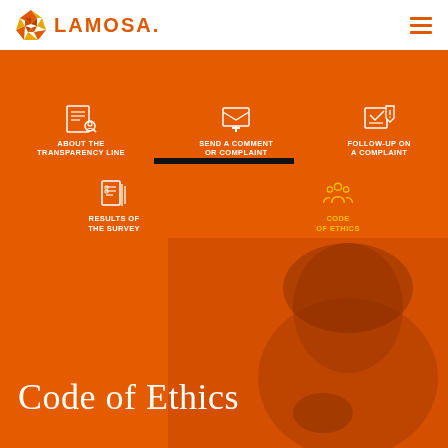LAMOSA
[Figure (infographic): Navigation menu icons on orange background: About the Transparency Line, Send a Comment or Complaint, Follow-Up on a Complaint, Results of the Survey, Code of Ethics (active/highlighted)]
[Figure (photo): Orange-tinted hero image of a person thinking, with text 'Code of Ethics' overlaid in white serif font]